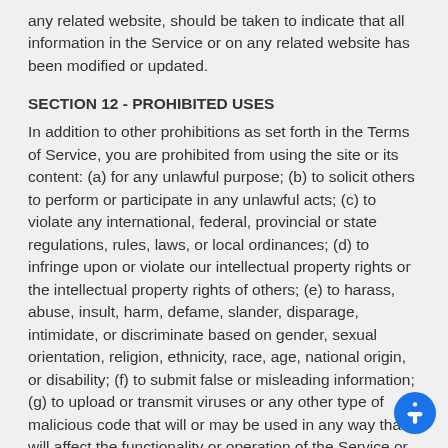any related website, should be taken to indicate that all information in the Service or on any related website has been modified or updated.
SECTION 12 - PROHIBITED USES
In addition to other prohibitions as set forth in the Terms of Service, you are prohibited from using the site or its content: (a) for any unlawful purpose; (b) to solicit others to perform or participate in any unlawful acts; (c) to violate any international, federal, provincial or state regulations, rules, laws, or local ordinances; (d) to infringe upon or violate our intellectual property rights or the intellectual property rights of others; (e) to harass, abuse, insult, harm, defame, slander, disparage, intimidate, or discriminate based on gender, sexual orientation, religion, ethnicity, race, age, national origin, or disability; (f) to submit false or misleading information; (g) to upload or transmit viruses or any other type of malicious code that will or may be used in any way that will affect the functionality or operation of the Service or of any related website, other websites, or the Internet; (h) to collect or track the personal information of others; (i) to spam, phish,